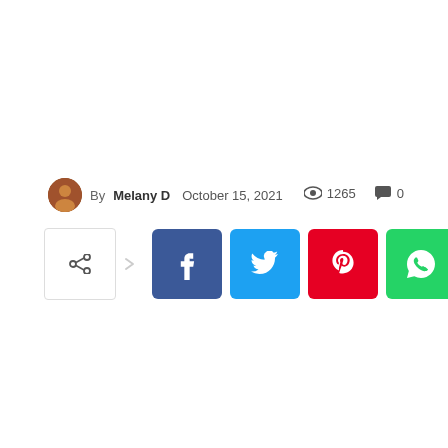By Melany D  October 15, 2021  👁 1265  💬 0
[Figure (infographic): Social share bar with share icon button, arrow indicator, and four social media buttons: Facebook (blue), Twitter (cyan), Pinterest (red), WhatsApp (green)]